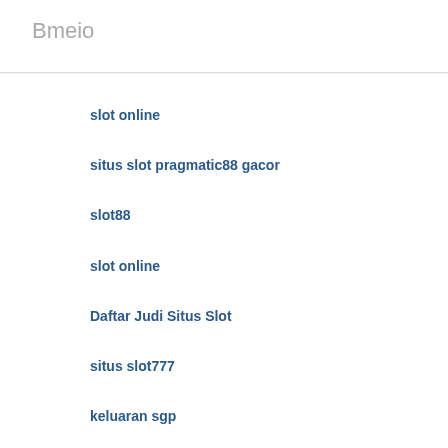Bmeio
slot online
situs slot pragmatic88 gacor
slot88
slot online
Daftar Judi Situs Slot
situs slot777
keluaran sgp